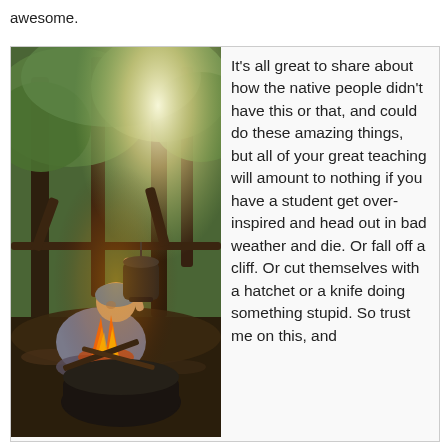awesome.
[Figure (photo): A man sitting cross-legged outdoors in a forest, wearing a grey shirt and blue head covering, cooking over an open campfire. A pot is suspended from a tree branch above the fire. Sunlight filters through green tree leaves in the background.]
It's all great to share about how the native people didn't have this or that, and could do these amazing things, but all of your great teaching will amount to nothing if you have a student get over-inspired and head out in bad weather and die.  Or fall off a cliff.  Or cut themselves with a hatchet or a knife doing something stupid.  So trust me on this, and